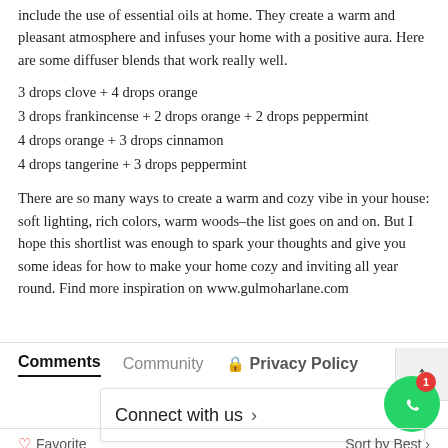include the use of essential oils at home. They create a warm and pleasant atmosphere and infuses your home with a positive aura. Here are some diffuser blends that work really well.
3 drops clove + 4 drops orange
3 drops frankincense + 2 drops orange + 2 drops peppermint
4 drops orange + 3 drops cinnamon
4 drops tangerine + 3 drops peppermint
There are so many ways to create a warm and cozy vibe in your house: soft lighting, rich colors, warm woods–the list goes on and on. But I hope this shortlist was enough to spark your thoughts and give you some ideas for how to make your home cozy and inviting all year round. Find more inspiration on www.gulmoharlane.com
Comments   Community   🔒 Privacy Policy
Connect with us ›
♡ Favorite    Sort by Best ›